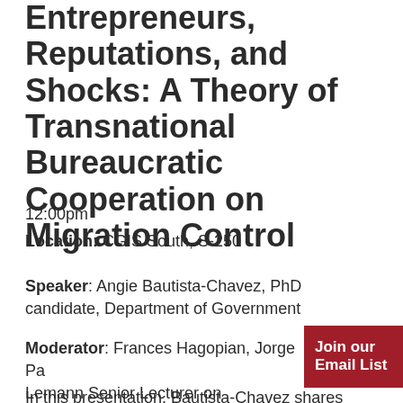Entrepreneurs, Reputations, and Shocks: A Theory of Transnational Bureaucratic Cooperation on Migration Control
12:00pm
Location: CGIS South, S-250
Speaker: Angie Bautista-Chavez, PhD candidate, Department of Government
Moderator: Frances Hagopian, Jorge Pa[z] Lemann Senior Lecturer on Governme[nt]
In this presentation, Bautista-Chavez shares